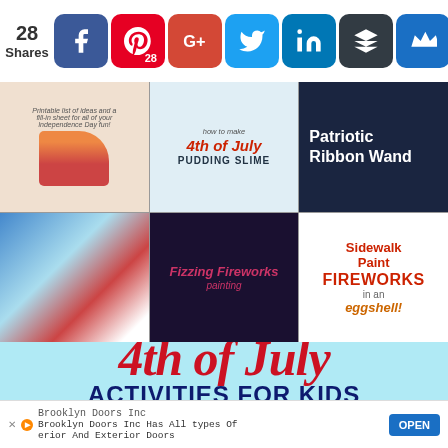[Figure (screenshot): Social share bar with share count 28 and icons for Facebook, Pinterest (28), Google+, Twitter, LinkedIn, Buffer, MeWe]
[Figure (photo): Grid of 6 craft activity images for 4th of July kids activities: Independence Day fill-in sheet with red sneakers, 4th of July Pudding Slime, Patriotic Ribbon Wand, fizzing paint art, Fizzing Fireworks painting, Sidewalk Paint Fireworks in an eggshell]
4th of July ACTIVITIES FOR KIDS
[Figure (screenshot): Advertisement banner for Brooklyn Doors Inc with OPEN button]